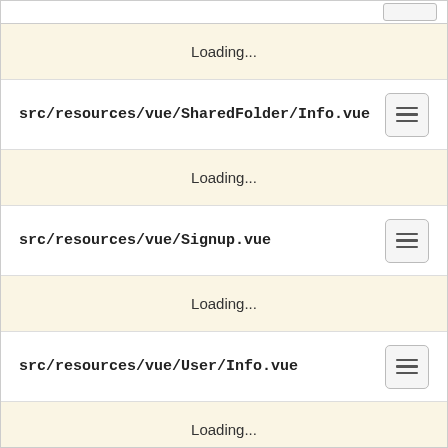Loading...
src/resources/vue/SharedFolder/Info.vue
Loading...
src/resources/vue/Signup.vue
Loading...
src/resources/vue/User/Info.vue
Loading...
src/resources/vue/User/Profile.vue
Loading...